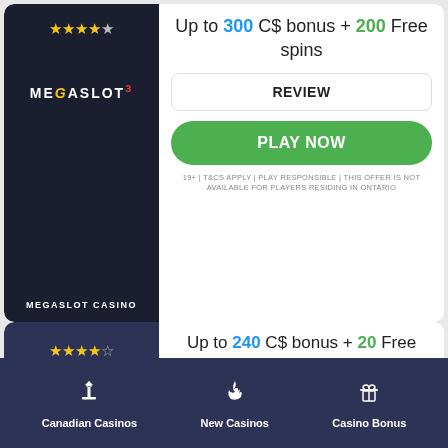[Figure (screenshot): Megaslot Casino card with dark navy left panel showing stars and MEGASLOT logo and MEGASLOT CASINO text, and white right panel]
Up to 300 C$ bonus + 200 Free spins
REVIEW
PLAY NOW
19+ | T&CS APPLY | PLAY RESPONSIBLE | THIS OFFER IS NOT AVAILABLE FOR PLAYERS RESIDING IN ONTARIO
[Figure (screenshot): Second casino card with dark blue-grey left panel showing 4.5 stars rating]
Up to 240 C$ bonus + 20 Free spins
Canadian Casinos | New Casinos | Casino Bonus